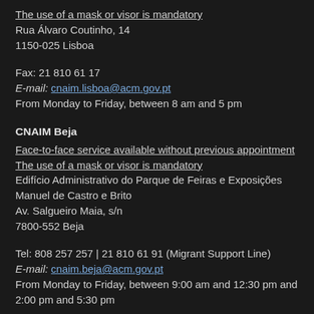The use of a mask or visor is mandatory
Rua Álvaro Coutinho, 14
1150-025 Lisboa
Fax: 21 810 61 17
E-mail: cnaim.lisboa@acm.gov.pt
From Monday to Friday, between 8 am and 5 pm
CNAIM Beja
Face-to-face service available without previous appointment
The use of a mask or visor is mandatory
Edifício Administrativo do Parque de Feiras e Exposições Manuel de Castro e Brito
Av. Salgueiro Maia, s/n
7800-552 Beja
Tel: 808 257 257 | 21 810 61 91 (Migrant Support Line)
E-mail: cnaim.beja@acm.gov.pt
From Monday to Friday, between 9:00 am and 12:30 pm and 2:00 pm and 5:30 pm